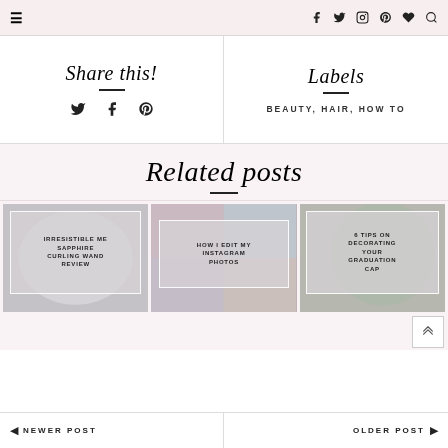≡  [navigation icons: facebook, twitter, instagram, pinterest, heart, search]
Share this!
Twitter, Facebook, Pinterest icons
Labels
BEAUTY, HAIR, HOW TO
Related posts
[Figure (photo): Blog post card: IRRESISTIBLE ME SAPPHIRE CURLING WAND REVIEW]
[Figure (photo): Blog post card: HOW I EDIT MY INSTAGRAM PHOTOS]
[Figure (photo): Blog post card: 6 TIPS ON DECORATING YOUR GRADUATION CAP]
◄ NEWER POST    OLDER POST ►